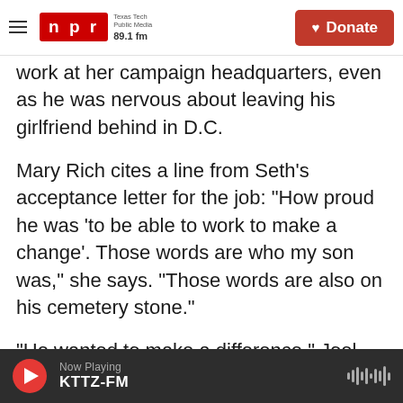NPR Texas Tech Public Media 89.1 fm | Donate
work at her campaign headquarters, even as he was nervous about leaving his girlfriend behind in D.C.
Mary Rich cites a line from Seth's acceptance letter for the job: "How proud he was 'to be able to work to make a change'. Those words are who my son was," she says. "Those words are also on his cemetery stone."
"He wanted to make a difference," Joel Rich gently intercedes.
"He wanted to make a difference," Mary Rich
Now Playing KTTZ-FM